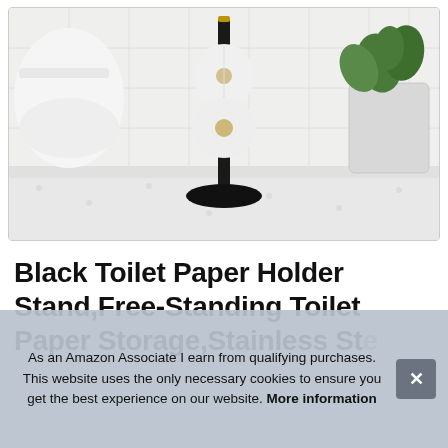[Figure (photo): A black free-standing toilet paper holder stand in a white bathroom. The stand has a round black base and a black vertical pole with toilet paper rolls stacked on it. In the background there is a white toilet on the left and a white stone planter with a green plant on the right. The floor is white mosaic tile.]
Black Toilet Paper Holder Stand,Free-Standing Toilet Paper Storage,Stainless Ste... Sh... Ro...
As an Amazon Associate I earn from qualifying purchases. This website uses the only necessary cookies to ensure you get the best experience on our website. More information